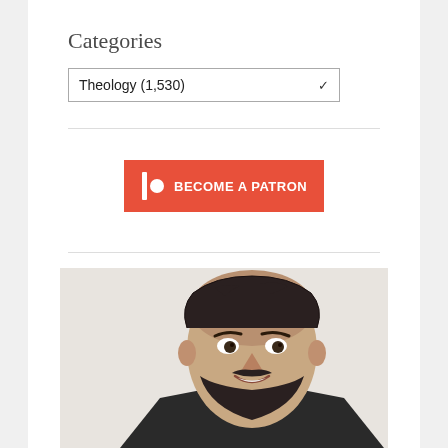Categories
Theology  (1,530)
[Figure (screenshot): Red 'Become a Patron' button with Patreon-style icon (vertical bar and circle) on left side, white bold text reading 'BECOME A PATRON']
[Figure (photo): Headshot of a smiling man with dark hair (balding on top), beard, wearing a dark jacket, against a light background]